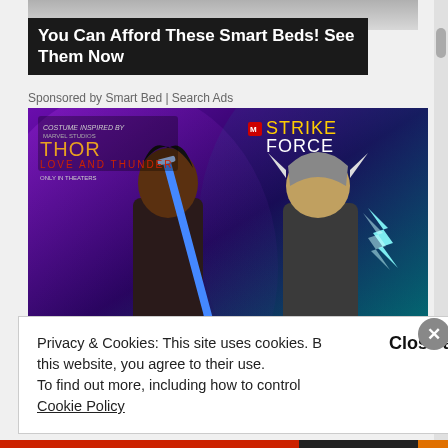[Figure (screenshot): Partial screenshot of a webpage showing a Smart Bed advertisement, a Marvel Strike Force game advertisement image featuring Thor: Love and Thunder characters, and a cookie consent banner overlay.]
You Can Afford These Smart Beds! See Them Now
Sponsored by Smart Bed | Search Ads
[Figure (photo): Marvel Strike Force game advertisement image featuring two characters from Thor: Love and Thunder - a female warrior with a blue sword on the left and Thor (Jane Foster) with lightning on the right, against a purple and teal background. Text reads 'THOR LOVE AND THUNDER' and 'MARVEL STRIKE FORCE'.]
Privacy & Cookies: This site uses cookies. By continuing to use this website, you agree to their use.
To find out more, including how to control cookies, see here:
Cookie Policy
Close and accept